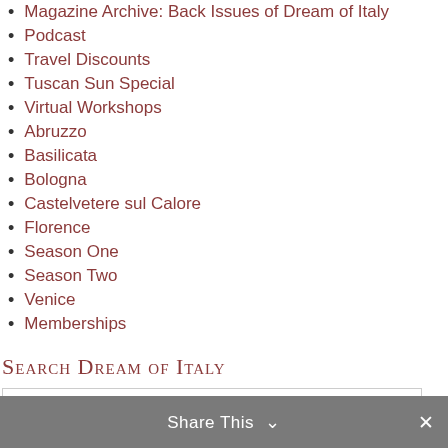Magazine Archive: Back Issues of Dream of Italy
Podcast
Travel Discounts
Tuscan Sun Special
Virtual Workshops
Abruzzo
Basilicata
Bologna
Castelvetere sul Calore
Florence
Season One
Season Two
Venice
Memberships
Search Dream of Italy
Search
Share This ∨  ✕